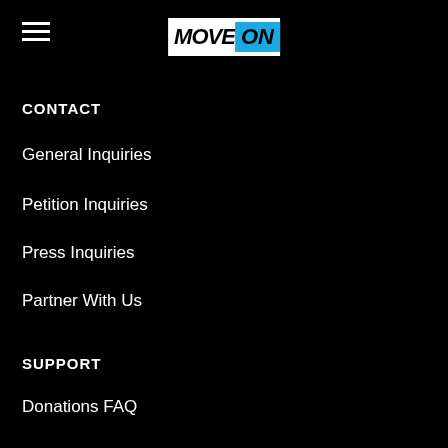[Figure (logo): MoveOn logo with MOVE in black on white background and ON in black on blue background]
CONTACT
General Inquiries
Petition Inquiries
Press Inquiries
Partner With Us
SUPPORT
Donations FAQ
FAQ
Privacy Policy & ToS
Accessibility